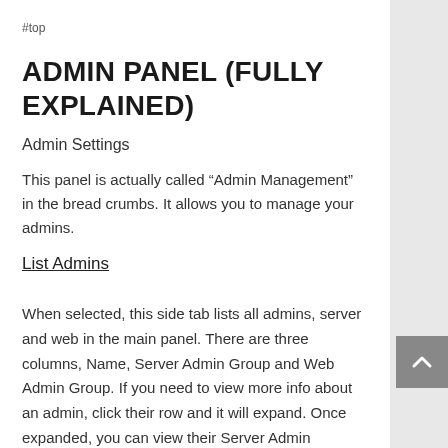#top
ADMIN PANEL (FULLY EXPLAINED)
Admin Settings
This panel is actually called “Admin Management” in the bread crumbs. It allows you to manage your admins.
List Admins
When selected, this side tab lists all admins, server and web in the main panel. There are three columns, Name, Server Admin Group and Web Admin Group. If you need to view more info about an admin, click their row and it will expand. Once expanded, you can view their Server Admin